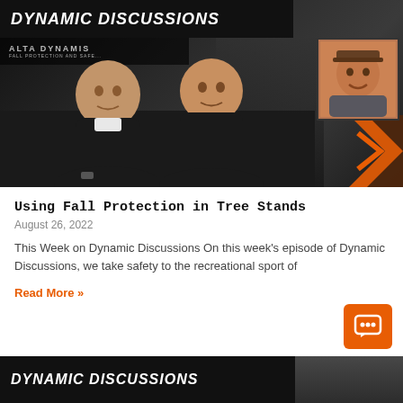[Figure (photo): Dynamic Discussions video thumbnail showing two men in black shirts seated at a table, with a smaller inset photo of another man in top right corner. Dark background with Malta Dynamics branding and orange accent chevron.]
Using Fall Protection in Tree Stands
August 26, 2022
This Week on Dynamic Discussions On this week's episode of Dynamic Discussions, we take safety to the recreational sport of
Read More »
[Figure (photo): Partial Dynamic Discussions banner at bottom of page, same branding style with dark background.]